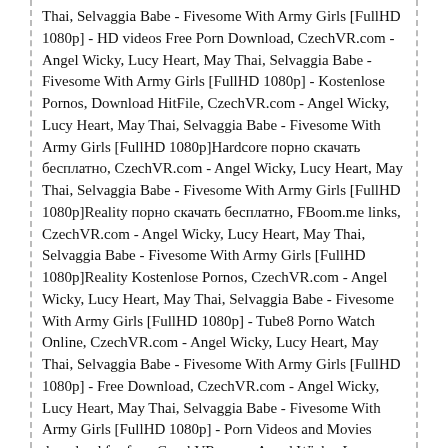Thai, Selvaggia Babe - Fivesome With Army Girls [FullHD 1080p] - HD videos Free Porn Download, CzechVR.com - Angel Wicky, Lucy Heart, May Thai, Selvaggia Babe - Fivesome With Army Girls [FullHD 1080p] - Kostenlose Pornos, Download HitFile, CzechVR.com - Angel Wicky, Lucy Heart, May Thai, Selvaggia Babe - Fivesome With Army Girls [FullHD 1080p]Hardcore порно скачать бесплатно, CzechVR.com - Angel Wicky, Lucy Heart, May Thai, Selvaggia Babe - Fivesome With Army Girls [FullHD 1080p]Reality порно скачать бесплатно, FBoom.me links, CzechVR.com - Angel Wicky, Lucy Heart, May Thai, Selvaggia Babe - Fivesome With Army Girls [FullHD 1080p]Reality Kostenlose Pornos, CzechVR.com - Angel Wicky, Lucy Heart, May Thai, Selvaggia Babe - Fivesome With Army Girls [FullHD 1080p] - Tube8 Porno Watch Online, CzechVR.com - Angel Wicky, Lucy Heart, May Thai, Selvaggia Babe - Fivesome With Army Girls [FullHD 1080p] - Free Download, CzechVR.com - Angel Wicky, Lucy Heart, May Thai, Selvaggia Babe - Fivesome With Army Girls [FullHD 1080p] - Porn Videos and Movies download for free, CzechVR.com - Angel Wicky, Lucy Heart, May Thai, Selvaggia Babe - Fivesome With Army Girls [FullHD 1080p] - Pornhub Porn Watch Online, Mirror Turbobit, CzechVR.com - Angel Wicky, Lucy Heart, May Thai, Selvaggia Babe - Fivesome With Army Girls [FullHD 1080p] - Tube Porn, CzechVR.com - Angel Wicky, Lucy Heart, May Thai, Selvaggia Babe - Fivesome With Army Girls [FullHD